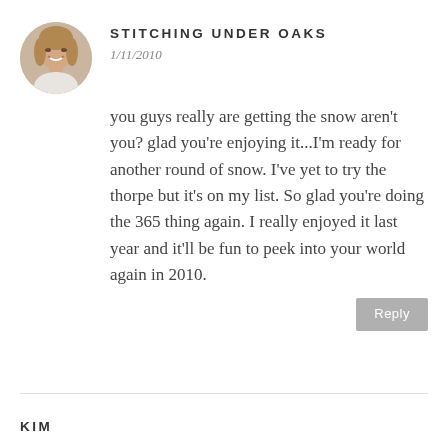[Figure (photo): Circular avatar photo of a woman smiling, with short blonde/brown hair, against a light background.]
STITCHING UNDER OAKS
1/11/2010
you guys really are getting the snow aren't you? glad you're enjoying it...I'm ready for another round of snow. I've yet to try the thorpe but it's on my list. So glad you're doing the 365 thing again. I really enjoyed it last year and it'll be fun to peek into your world again in 2010.
Reply
KIM